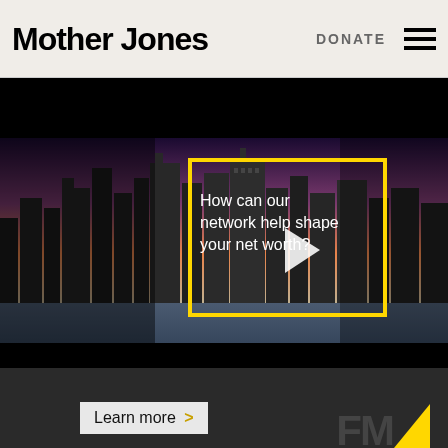Mother Jones | DONATE
[Figure (screenshot): Video player showing city skyline at dusk with yellow rectangle frame overlay, play button in center, and white text reading 'How can our network help shape your net worth?']
[Figure (screenshot): Dark advertisement section with 'Learn more >' button in light background and partial FM logo with yellow triangle graphic]